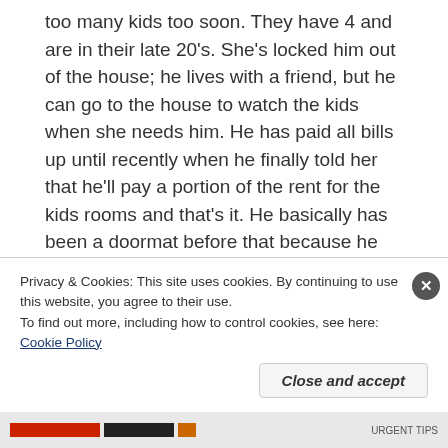too many kids too soon. They have 4 and are in their late 20's. She's locked him out of the house; he lives with a friend, but he can go to the house to watch the kids when she needs him. He has paid all bills up until recently when he finally told her that he'll pay a portion of the rent for the kids rooms and that's it. He basically has been a doormat before that because he loves her and doesn't want to let go. I can't believe how similar this is…I can't imagine how my sister feels about her son going through this and he's heard the same advice from his family and
Privacy & Cookies: This site uses cookies. By continuing to use this website, you agree to their use.
To find out more, including how to control cookies, see here: Cookie Policy
Close and accept